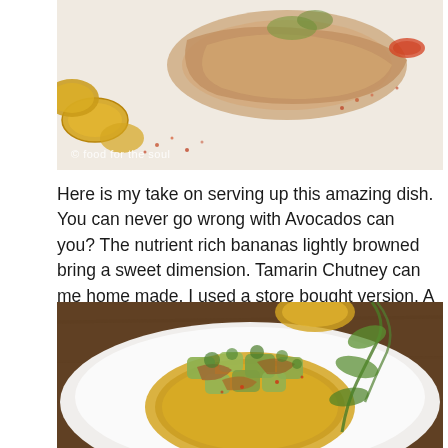[Figure (photo): Food photo showing fried plantain slices and a piece of meat/fish on a white plate with spice sprinkled around. Watermark text '© food for the soul' in bottom left.]
Here is my take on serving up this amazing dish. You can never go wrong with Avocados can you? The nutrient rich bananas lightly browned bring a sweet dimension. Tamarin Chutney can me home made, I used a store bought version. A sprinkle of cumin, a dash of cayenne, a squeeze of lemon and there you have it! Ready in 10  mins.
[Figure (photo): Close-up food photo showing avocado chunks with herbs (cilantro) and sauce on a fried plantain base, topped with greens, on a white plate over a wooden surface.]